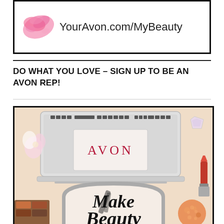[Figure (logo): Avon website URL banner with pink paint splash and text YourAvon.com/MyBeauty in a black border box]
DO WHAT YOU LOVE – SIGN UP TO BE AN AVON REP!
[Figure (photo): Flat lay photo showing a laptop with Avon logo on trackpad, surrounded by makeup products including lipstick, eyeshadow palette, and beauty accessories. Bottom portion shows a framed arch shape with cursive text reading 'Make Beauty']